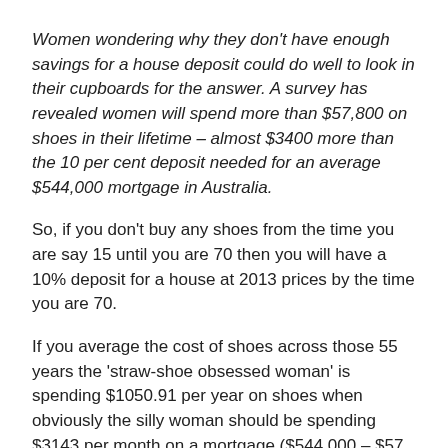Women wondering why they don't have enough savings for a house deposit could do well to look in their cupboards for the answer. A survey has revealed women will spend more than $57,800 on shoes in their lifetime – almost $3400 more than the 10 per cent deposit needed for an average $544,000 mortgage in Australia.
So, if you don't buy any shoes from the time you are say 15 until you are 70 then you will have a 10% deposit for a house at 2013 prices by the time you are 70.
If you average the cost of shoes across those 55 years the 'straw-shoe obsessed woman' is spending $1050.91 per year on shoes when obviously the silly woman should be spending $3143 per month on a mortgage ($544 000 – $57 800 at 6% interest for 25 years ignoring stamp duty,